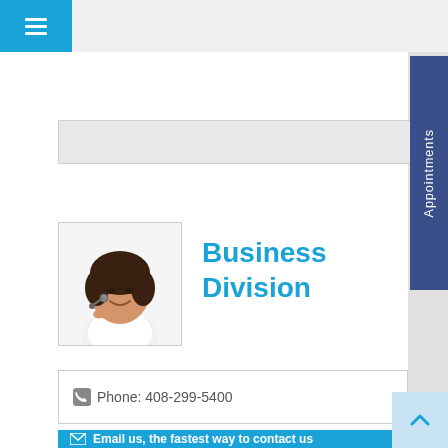[Figure (screenshot): Blue hamburger menu button in top-left navigation bar]
Appointments
[Figure (photo): Asian woman with headset smiling, customer service representative photo]
Business Division
Phone: 408-299-5400
Email us, the fastest way to contact us